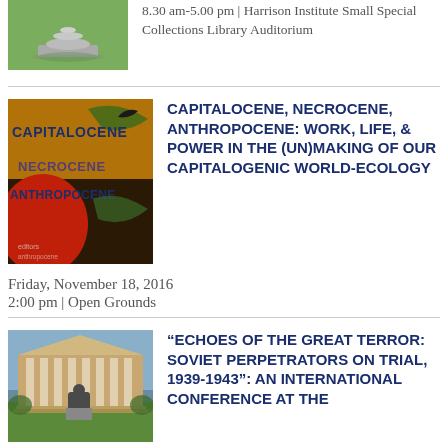[Figure (photo): Circular stone monument or fountain on grass]
8.30 am-5.00 pm | Harrison Institute Small Special Collections Library Auditorium
[Figure (photo): Book cover or poster with text: CAPITALOCENE, NECROCENE, ANTHROPOCENE in yellow/orange on dark background with red and green imagery]
CAPITALOCENE, NECROCENE, ANTHROPOCENE: WORK, LIFE, & POWER IN THE (UN)MAKING OF OUR CAPITALOGENIC WORLD-ECOLOGY
Friday, November 18, 2016
2:00 pm | Open Grounds
[Figure (photo): University of Virginia Rotunda building with columned facade and seated statue in foreground]
“ECHOES OF THE GREAT TERROR: SOVIET PERPETRATORS ON TRIAL, 1939-1943”: AN INTERNATIONAL CONFERENCE AT THE